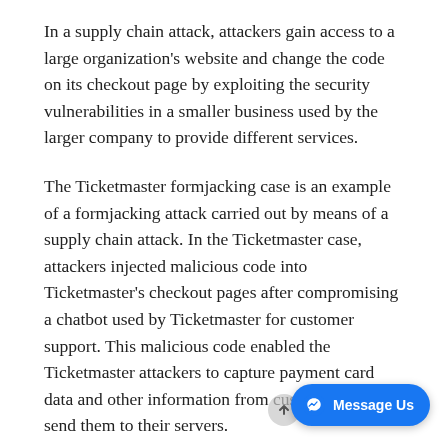In a supply chain attack, attackers gain access to a large organization's website and change the code on its checkout page by exploiting the security vulnerabilities in a smaller business used by the larger company to provide different services.
The Ticketmaster formjacking case is an example of a formjacking attack carried out by means of a supply chain attack. In the Ticketmaster case, attackers injected malicious code into Ticketmaster's checkout pages after compromising a chatbot used by Ticketmaster for customer support. This malicious code enabled the Ticketmaster attackers to capture payment card data and other information from customers and send them to their servers.